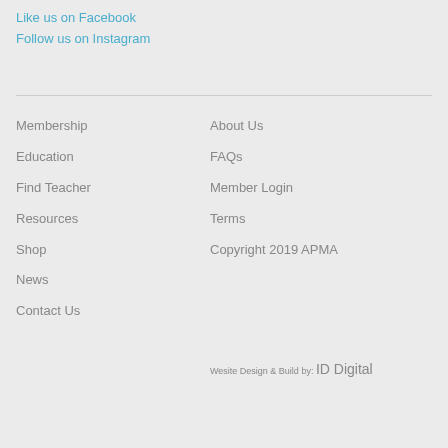Like us on Facebook
Follow us on Instagram
Membership
Education
Find Teacher
Resources
Shop
News
Contact Us
About Us
FAQs
Member Login
Terms
Copyright 2019 APMA
Wesite Design & Build by: ID Digital